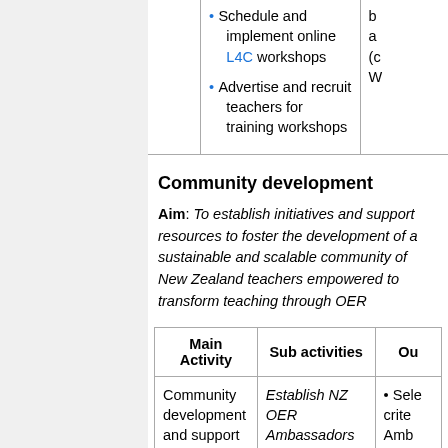|  | Sub activities | Ou |
| --- | --- | --- |
|  | Schedule and implement online L4C workshops
Advertise and recruit teachers for training workshops | b a (c W |
Community development
Aim: To establish initiatives and support resources to foster the development of a sustainable and scalable community of New Zealand teachers empowered to transform teaching through OER
| Main Activity | Sub activities | Ou |
| --- | --- | --- |
| Community development and support | Establish NZ OER Ambassadors initiative | Sele crite Amb |